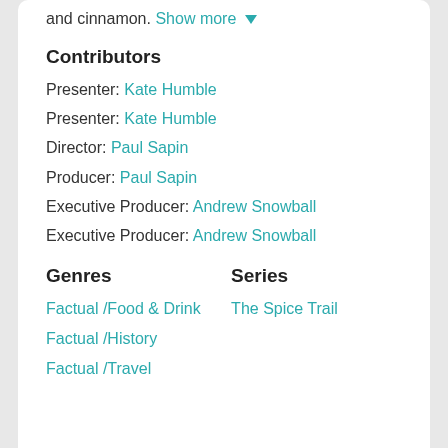and cinnamon. Show more ▼
Contributors
Presenter: Kate Humble
Presenter: Kate Humble
Director: Paul Sapin
Producer: Paul Sapin
Executive Producer: Andrew Snowball
Executive Producer: Andrew Snowball
Genres
Series
Factual / Food & Drink
The Spice Trail
Factual / History
Factual / Travel
Source: BBC Online ?